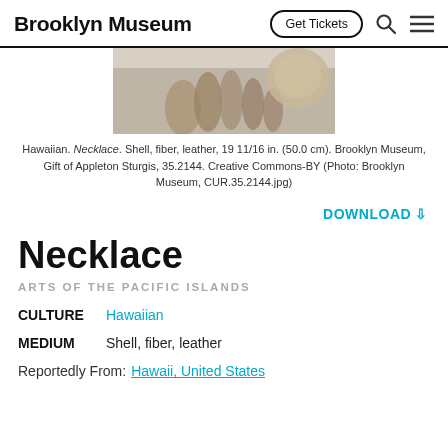Brooklyn Museum   Get Tickets
[Figure (photo): Partial photograph of a Hawaiian necklace artifact — shell, fiber, leather — shown against a light background]
Hawaiian. Necklace. Shell, fiber, leather, 19 11/16 in. (50.0 cm). Brooklyn Museum, Gift of Appleton Sturgis, 35.2144. Creative Commons-BY (Photo: Brooklyn Museum, CUR.35.2144.jpg)
DOWNLOAD ⇓
Necklace
ARTS OF THE PACIFIC ISLANDS
CULTURE   Hawaiian
MEDIUM   Shell, fiber, leather
Reportedly From: Hawaii, United States